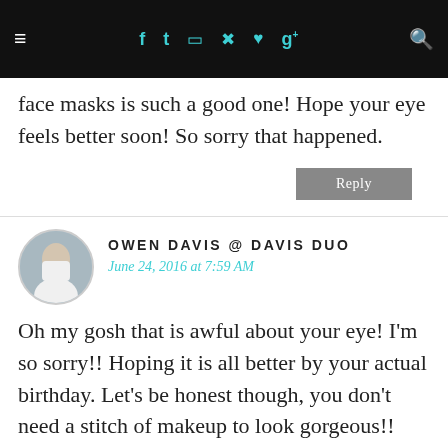≡  f  t  [instagram]  [pinterest]  [bloglovin]  g+  [search]
face masks is such a good one! Hope your eye feels better soon! So sorry that happened.
Reply
OWEN DAVIS @ DAVIS DUO
June 24, 2016 at 7:59 AM
Oh my gosh that is awful about your eye! I'm so sorry!! Hoping it is all better by your actual birthday. Let's be honest though, you don't need a stitch of makeup to look gorgeous!!